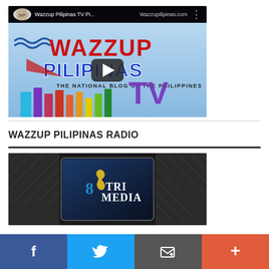[Figure (screenshot): Embedded YouTube video thumbnail showing Wazzup Pilipinas TV logo with colorful bar graph cityscape background and play button. Video bar shows channel icon, title 'Wazzup Pilipinas TV Pi...' and URL 'Wazzupilipinas.com']
WAZZUP PILIPINAS RADIO
[Figure (screenshot): Radio section thumbnail image showing a TV screen displaying '8 TRI MEDIA' text with yellow ribbon icon, against dark acoustic foam background]
[Figure (screenshot): Bottom social share bar with Facebook, Twitter, email/bookmark, and plus (+) icons]